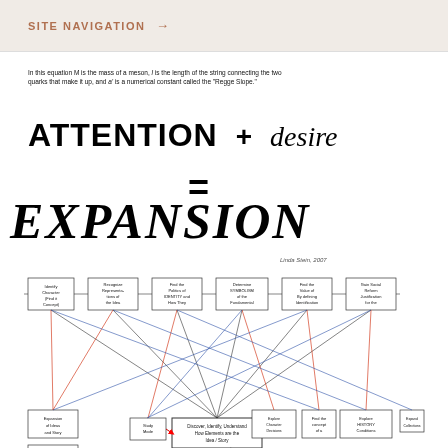SITE NAVIGATION →
In this equation M is the mass of a meson, l is the length of the string connecting the two quarks that make it up, and a' is a numerical constant called the "Regge Slope."
ATTENTION + desire
=
EXPANSION
Linda Stein, 2007
[Figure (flowchart): Complex flowchart showing interconnected boxes with arrows in black, red, and blue colors, depicting a process or concept map related to expansion with multiple nodes and crossing connections.]